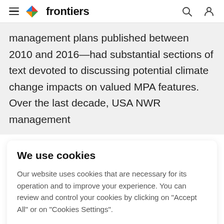frontiers
management plans published between 2010 and 2016—had substantial sections of text devoted to discussing potential climate change impacts on valued MPA features. Over the last decade, USA NWR management
We use cookies
Our website uses cookies that are necessary for its operation and to improve your experience. You can review and control your cookies by clicking on "Accept All" or on "Cookies Settings".
Accept Cookies
Cookies Settings